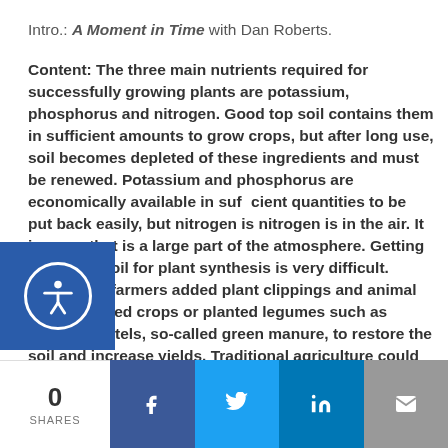Intro.: A Moment in Time with Dan Roberts.
Content: The three main nutrients required for successfully growing plants are potassium, phosphorus and nitrogen. Good top soil contains them in sufficient amounts to grow crops, but after long use, soil becomes depleted of these ingredients and must be renewed. Potassium and phosphorus are economically available in sufficient quantities to be put back easily, but nitrogen is different. Most nitrogen is in the air. It is a gas that is a large part of the atmosphere. Getting it into the soil for plant synthesis is very difficult. Traditional farmers added plant clippings and animal waste, rotated crops or planted legumes such as beans or lintels, so-called green manure, to restore the soil and increase yields. Traditional agriculture could not
0 SHARES